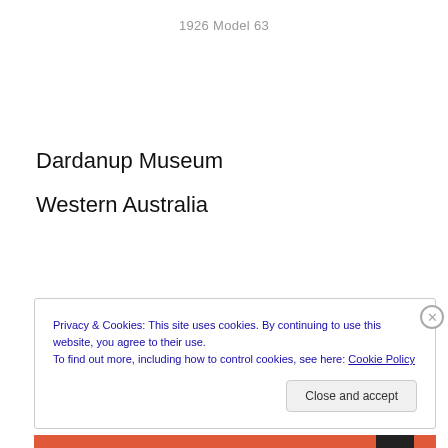1926 Model 63
Dardanup Museum
Western Australia
Privacy & Cookies: This site uses cookies. By continuing to use this website, you agree to their use.
To find out more, including how to control cookies, see here: Cookie Policy
Close and accept